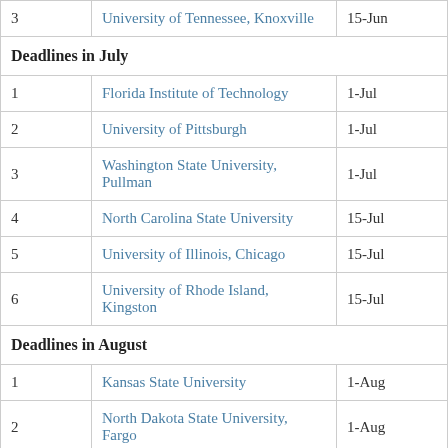| # | University | Deadline |
| --- | --- | --- |
| 3 | University of Tennessee, Knoxville | 15-Jun |
| Deadlines in July |  |  |
| 1 | Florida Institute of Technology | 1-Jul |
| 2 | University of Pittsburgh | 1-Jul |
| 3 | Washington State University, Pullman | 1-Jul |
| 4 | North Carolina State University | 15-Jul |
| 5 | University of Illinois, Chicago | 15-Jul |
| 6 | University of Rhode Island, Kingston | 15-Jul |
| Deadlines in August |  |  |
| 1 | Kansas State University | 1-Aug |
| 2 | North Dakota State University, Fargo | 1-Aug |
| 3 | University of Michigan, Dearborn | 1-Aug |